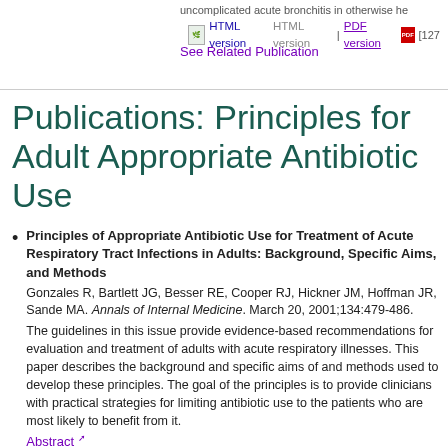uncomplicated acute bronchitis in otherwise he
HTML version | PDF version [127
See Related Publication
Publications: Principles for Adult Appropriate Antibiotic Use
Principles of Appropriate Antibiotic Use for Treatment of Acute Respiratory Tract Infections in Adults: Background, Specific Aims, and Methods
Gonzales R, Bartlett JG, Besser RE, Cooper RJ, Hickner JM, Hoffman JR, Sande MA. Annals of Internal Medicine. March 20, 2001;134:479-486.
The guidelines in this issue provide evidence-based recommendations for evaluation and treatment of adults with acute respiratory illnesses. This paper describes the background and specific aims of and methods used to develop these principles. The goal of the principles is to provide clinicians with practical strategies for limiting antibiotic use to the patients who are most likely to benefit from it.
Abstract
Principles of Appropriate Antibiotic Use for Treatment of